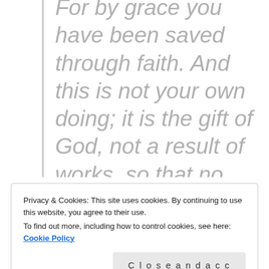For by grace you have been saved through faith. And this is not your own doing; it is the gift of God, not a result of works, so that no one may boast.
Privacy & Cookies: This site uses cookies. By continuing to use this website, you agree to their use. To find out more, including how to control cookies, see here: Cookie Policy
Close and accept